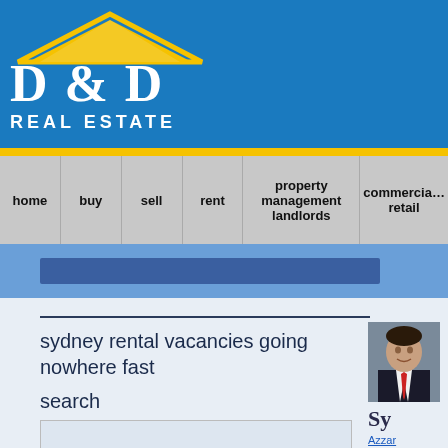[Figure (logo): D&D Real Estate logo with yellow roof shape on blue background]
home | buy | sell | rent | property management landlords | commercial retail
sydney rental vacancies going nowhere fast
search
[Figure (photo): Portrait photo of a man in a suit with a red tie]
Sy
Azzar
Rental vacancies